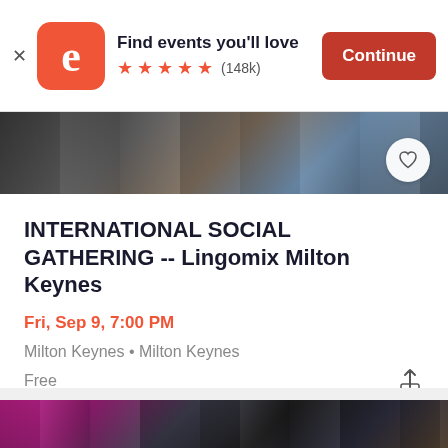[Figure (screenshot): Eventbrite app banner showing logo, 'Find events you'll love', 5-star rating (148k), and Continue button]
[Figure (photo): Hero image strip showing people at a social gathering event]
INTERNATIONAL SOCIAL GATHERING -- Lingomix Milton Keynes
Fri, Sep 9, 7:00 PM
Milton Keynes • Milton Keynes
Free
[Figure (photo): Bottom photo showing group of people socializing at an international social gathering event]